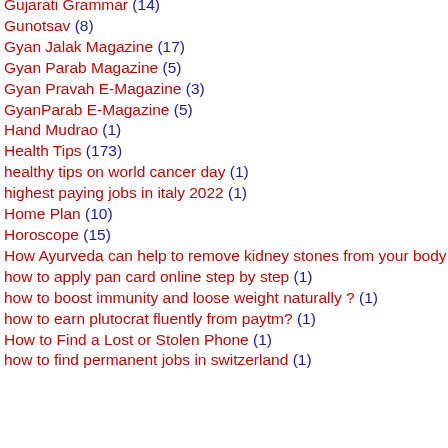Gujarati Grammar (14)
Gunotsav (8)
Gyan Jalak Magazine (17)
Gyan Parab Magazine (5)
Gyan Pravah E-Magazine (3)
GyanParab E-Magazine (5)
Hand Mudrao (1)
Health Tips (173)
healthy tips on world cancer day (1)
highest paying jobs in italy 2022 (1)
Home Plan (10)
Horoscope (15)
How Ayurveda can help to remove kidney stones from your body (1)
how to apply pan card online step by step (1)
how to boost immunity and loose weight naturally ? (1)
how to earn plutocrat fluently from paytm? (1)
How to Find a Lost or Stolen Phone (1)
how to find permanent jobs in switzerland (1)